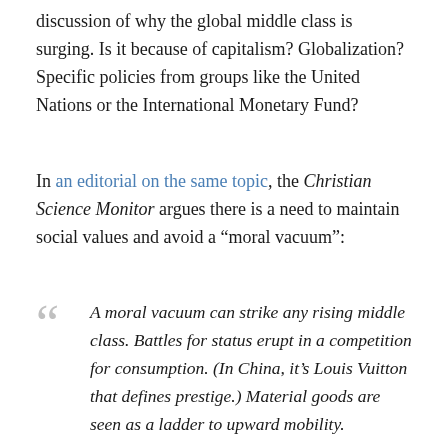discussion of why the global middle class is surging. Is it because of capitalism? Globalization? Specific policies from groups like the United Nations or the International Monetary Fund?
In an editorial on the same topic, the Christian Science Monitor argues there is a need to maintain social values and avoid a “moral vacuum”:
A moral vacuum can strike any rising middle class. Battles for status erupt in a competition for consumption. (In China, it’s Louis Vuitton that defines prestige.) Material goods are seen as a ladder to upward mobility.

A consumer culture can also leave young